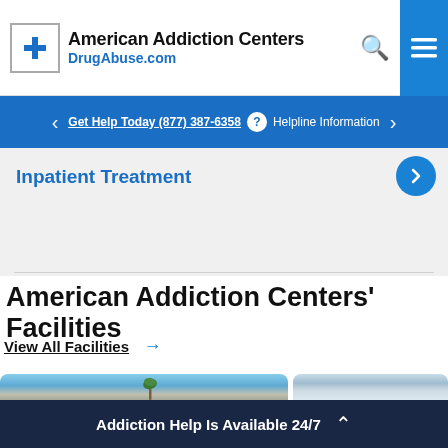American Addiction Centers DrugAbuse.com
Get Help Today (877) 387-6358 ? Helpline Information
Inpatient Treatment
American Addiction Centers' Facilities
View All Facilities →
[Figure (photo): Two facility photos side by side: left shows a building with palm tree against blue sky; right shows a building with clouds.]
Addiction Help Is Available 24/7